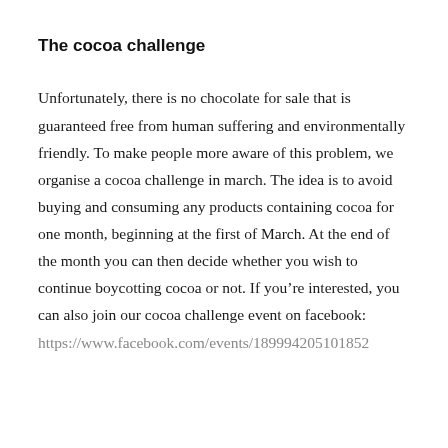The cocoa challenge
Unfortunately, there is no chocolate for sale that is guaranteed free from human suffering and environmentally friendly. To make people more aware of this problem, we organise a cocoa challenge in march. The idea is to avoid buying and consuming any products containing cocoa for one month, beginning at the first of March. At the end of the month you can then decide whether you wish to continue boycotting cocoa or not. If you're interested, you can also join our cocoa challenge event on facebook:
https://www.facebook.com/events/189994205101852